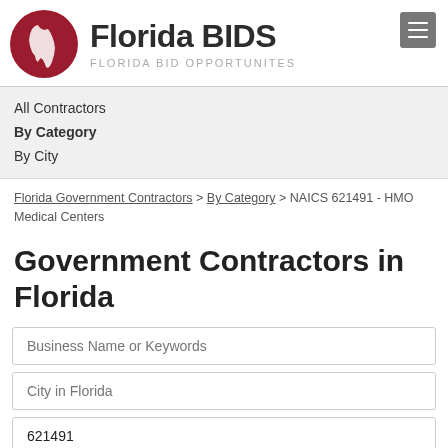[Figure (logo): Florida BIDS logo with red circle containing white Florida state outline, bold 'Florida BIDS' text, and subtitle 'FLORIDA BID OPPORTUNITES']
All Contractors
By Category
By City
Florida Government Contractors > By Category > NAICS 621491 - HMO Medical Centers
Government Contractors in Florida
Business Name or Keywords
City in Florida
621491